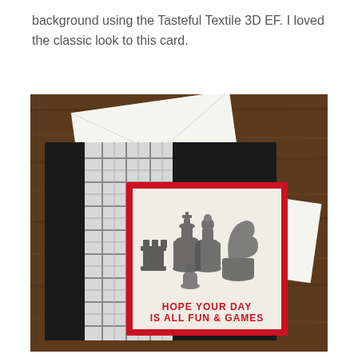background using the Tasteful Textile 3D EF. I loved the classic look to this card.
[Figure (photo): A handmade greeting card with chess pieces stamped on a cream background with red border, mounted on a black textured card base with a gray plaid panel, placed on a wooden surface with a white envelope.]